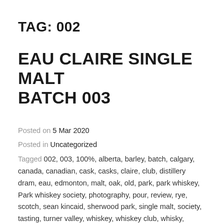TAG: 002
EAU CLAIRE SINGLE MALT BATCH 003
Posted on 5 Mar 2020
Posted in Uncategorized
Tagged 002, 003, 100%, alberta, barley, batch, calgary, canada, canadian, cask, casks, claire, club, distillery dram, eau, edmonton, malt, oak, old, park, park whiskey, Park whiskey society, photography, pour, review, rye, scotch, sean kincaid, sherwood park, single malt, society, tasting, turner valley, whiskey, whiskey club, whisky, whisky tasting, year, yeg